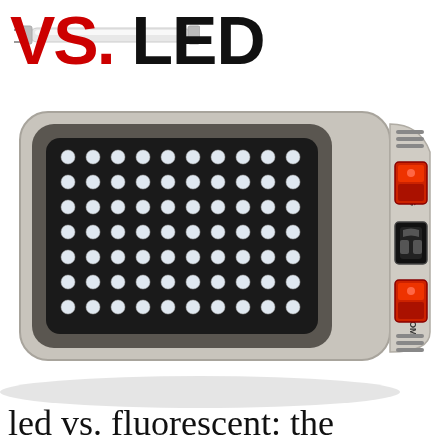[Figure (photo): Fluorescent tube light in the top-left corner of the image, partially visible at top-left edge]
VS. LED
[Figure (photo): LED grow light panel with multiple white LEDs arranged in a grid on a rectangular gray metal housing. The right side shows VEG and BLOOM rocker switches (red), an IEC power inlet, and ventilation slots. The panel is shown at an angle on a white background.]
led vs. fluorescent: the